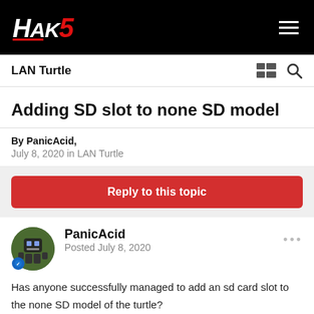HAK5
LAN Turtle
Adding SD slot to none SD model
By PanicAid,
July 8, 2020 in LAN Turtle
Reply to this topic
PanicAcid
Posted July 8, 2020
Has anyone successfully managed to add an sd card slot to the none SD model of the turtle?